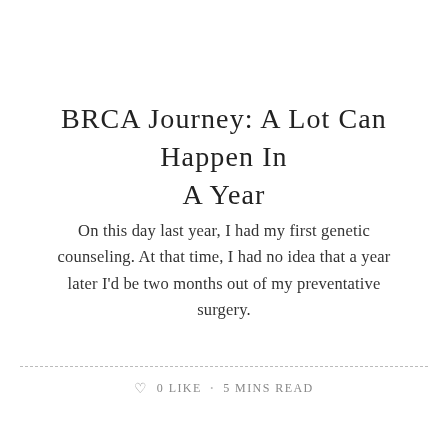BRCA Journey: A Lot Can Happen In A Year
On this day last year, I had my first genetic counseling. At that time, I had no idea that a year later I'd be two months out of my preventative surgery.
0 LIKE · 5 MINS READ